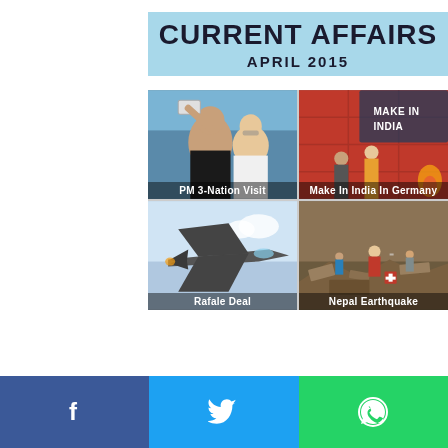CURRENT AFFAIRS
APRIL 2015
[Figure (photo): PM Modi taking a selfie with a woman, labeled 'PM 3-Nation Visit']
[Figure (photo): Make in India event in Germany with 'MAKE IN INDIA' text overlay]
[Figure (photo): Rafale fighter jet in flight, labeled 'Rafale Deal']
[Figure (photo): People amid rubble after Nepal Earthquake]
GOI launched Operation Raahat
[Figure (logo): Facebook share button (blue)]
[Figure (logo): Twitter share button (light blue)]
[Figure (logo): WhatsApp share button (green)]